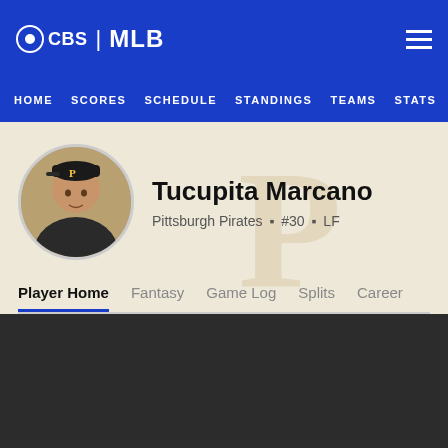CBS | MLB
HOME  SCORES  SCHEDULE  STANDINGS  TEAMS  STATS
[Figure (photo): Circular headshot of Tucupita Marcano wearing a Pittsburgh Pirates cap]
Tucupita Marcano
Pittsburgh Pirates • #30 • LF
Player Home  Fantasy  Game Log  Splits  Career